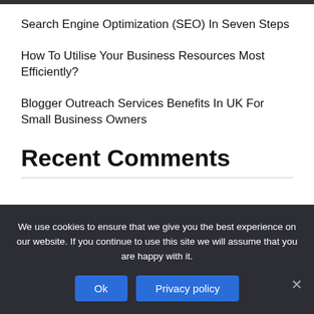Search Engine Optimization (SEO) In Seven Steps
How To Utilise Your Business Resources Most Efficiently?
Blogger Outreach Services Benefits In UK For Small Business Owners
Recent Comments
We use cookies to ensure that we give you the best experience on our website. If you continue to use this site we will assume that you are happy with it.